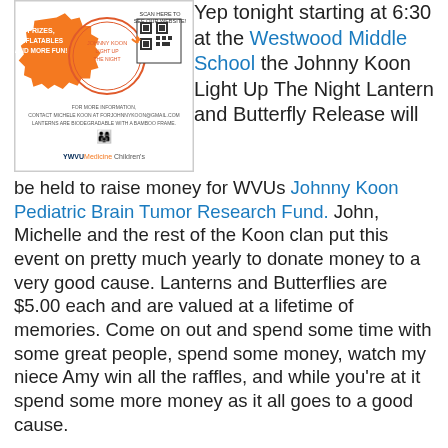[Figure (illustration): Promotional flyer for Johnny Koon Light Up The Night Lantern and Butterfly Release event, featuring orange starburst with prizes/inflatables text, a QR code, WVU Children's logo, and event contact info.]
Yep tonight starting at 6:30 at the Westwood Middle School the Johnny Koon Light Up The Night Lantern and Butterfly Release will be held to raise money for WVUs Johnny Koon Pediatric Brain Tumor Research Fund. John, Michelle and the rest of the Koon clan put this event on pretty much yearly to donate money to a very good cause. Lanterns and Butterflies are $5.00 each and are valued at a lifetime of memories. Come on out and spend some time with some great people, spend some money, watch my niece Amy win all the raffles, and while you're at it spend some more money as it all goes to a good cause.
I'll be heading out early this morning to the laundromat, Michelle is still battling the poison ivy we both got last week, so I'll give her a chance to relax and have a break. Other than that and tonight, no big plans for the weekend.
Michelle's Mom loves her mattress topper that e gave her. That hospital bed was really messing with her back and she